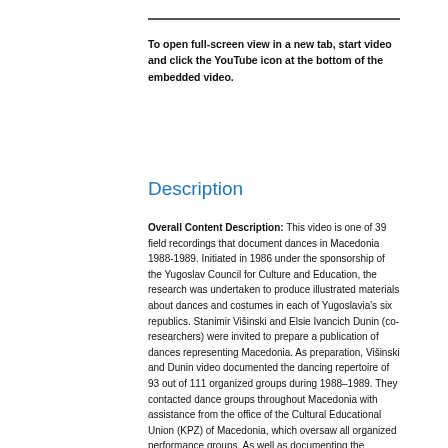To open full-screen view in a new tab, start video and click the YouTube icon at the bottom of the embedded video.
Description
Overall Content Description: This video is one of 39 field recordings that document dances in Macedonia 1988-1989. Initiated in 1986 under the sponsorship of the Yugoslav Council for Culture and Education, the research was undertaken to produce illustrated materials about dances and costumes in each of Yugoslavia's six republics. Stanimir Višinski and Elsie Ivancich Dunin (co-researchers) were invited to prepare a publication of dances representing Macedonia. As preparation, Višinski and Dunin video documented the dancing repertoire of 93 out of 111 organized groups during 1988–1989. They contacted dance groups throughout Macedonia with assistance from the office of the Cultural Educational Union (KPZ) of Macedonia, which oversaw all organized performance groups. As well as documenting the practiced performance